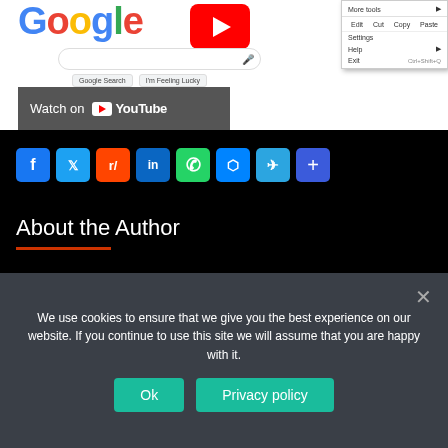[Figure (screenshot): Screenshot of Google homepage with partial Google logo, YouTube button, search bar, 'I'm Feeling Lucky' and 'Google Search' buttons, and a Chrome browser context menu showing More tools, Edit options (Cut, Copy, Paste), Settings, Help, and Exit. Also shows a 'Watch on YouTube' dark banner.]
[Figure (infographic): Social sharing icons: Facebook, Twitter, Reddit, LinkedIn, WhatsApp, Messenger, Telegram, and a Plus share button.]
About the Author
We use cookies to ensure that we give you the best experience on our website. If you continue to use this site we will assume that you are happy with it.
Ok
Privacy policy